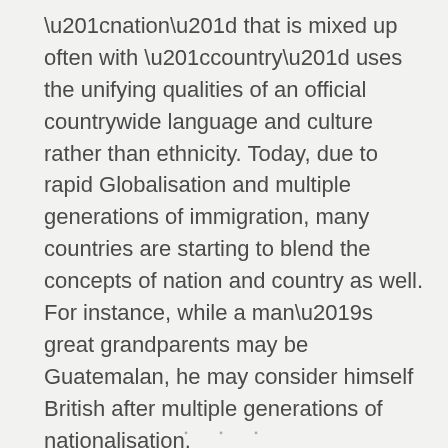“nation” that is mixed up often with “country” uses the unifying qualities of an official countrywide language and culture rather than ethnicity. Today, due to rapid Globalisation and multiple generations of immigration, many countries are starting to blend the concepts of nation and country as well. For instance, while a man’s great grandparents may be Guatemalan, he may consider himself British after multiple generations of nationalisation.
▪ ▪ ▪